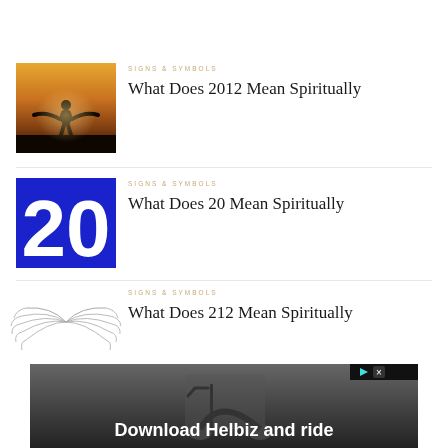[Figure (photo): Silhouette of a person with arms outstretched against a warm orange sunset sky]
SIGNS & SYMBOLS
What Does 2012 Mean Spiritually
[Figure (illustration): White large bold number 20 on bright blue background]
SIGNS & SYMBOLS
What Does 20 Mean Spiritually
[Figure (illustration): Two symmetrical angel wing illustrations facing outward in light gray/white sketch style]
SIGNS & SYMBOLS
What Does 212 Mean Spiritually
[Figure (photo): Advertisement banner showing an electric scooter with text Download Helbiz and ride]